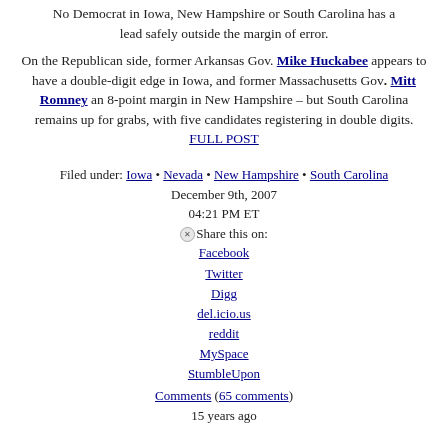No Democrat in Iowa, New Hampshire or South Carolina has a lead safely outside the margin of error.
On the Republican side, former Arkansas Gov. Mike Huckabee appears to have a double-digit edge in Iowa, and former Massachusetts Gov. Mitt Romney an 8-point margin in New Hampshire – but South Carolina remains up for grabs, with five candidates registering in double digits.
FULL POST
Filed under: Iowa • Nevada • New Hampshire • South Carolina
December 9th, 2007
04:21 PM ET
Share this on:
Facebook
Twitter
Digg
del.icio.us
reddit
MySpace
StumbleUpon
Comments (65 comments)
15 years ago